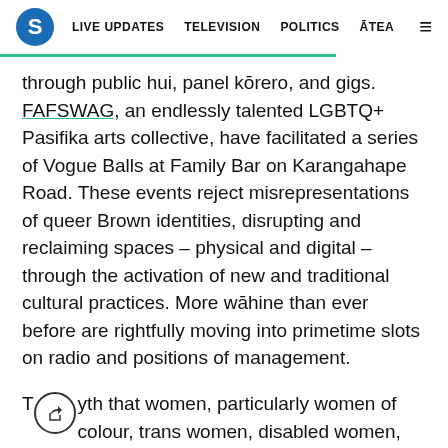S | LIVE UPDATES | TELEVISION | POLITICS | ĀTEA
through public hui, panel kōrero, and gigs. FAFSWAG, an endlessly talented LGBTQ+ Pasifika arts collective, have facilitated a series of Vogue Balls at Family Bar on Karangahape Road. These events reject misrepresentations of queer Brown identities, disrupting and reclaiming spaces – physical and digital – through the activation of new and traditional cultural practices. More wāhine than ever before are rightfully moving into primetime slots on radio and positions of management.
T[share icon]yth that women, particularly women of colour, trans women, disabled women, and non-binary...